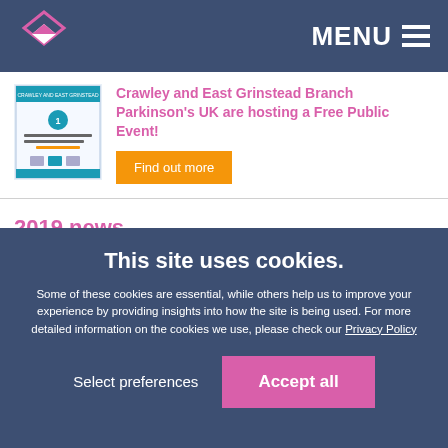MENU
[Figure (illustration): Thumbnail image of a Parkinson's UK event flyer]
Crawley and East Grinstead Branch Parkinson's UK are hosting a Free Public Event!
Find out more
2019 news
2018 news
This site uses cookies.
Some of these cookies are essential, while others help us to improve your experience by providing insights into how the site is being used. For more detailed information on the cookies we use, please check our Privacy Policy
Select preferences
Accept all